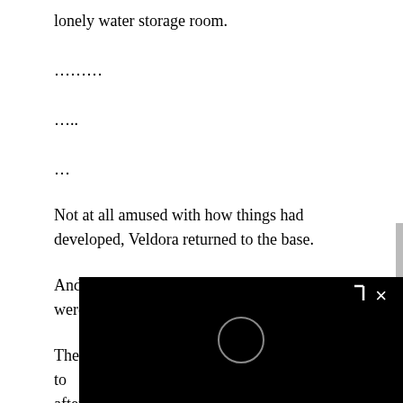lonely water storage room.
………
…..
…
Not at all amused with how things had developed, Veldora returned to the base.
And that was when he met the children who were tinkering with their robots.
They would choose whether or not to after learning more about the situatio their conclusion just a moment ago, b sulking. And so it no longer had anything to do with